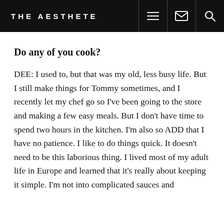THE AESTHETE
Do any of you cook?
DEE: I used to, but that was my old, less busy life. But I still make things for Tommy sometimes, and I recently let my chef go so I've been going to the store and making a few easy meals. But I don't have time to spend two hours in the kitchen. I'm also so ADD that I have no patience. I like to do things quick. It doesn't need to be this laborious thing. I lived most of my adult life in Europe and learned that it's really about keeping it simple. I'm not into complicated sauces and